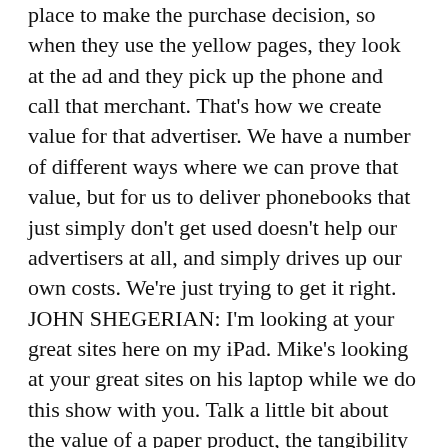place to make the purchase decision, so when they use the yellow pages, they look at the ad and they pick up the phone and call that merchant. That's how we create value for that advertiser. We have a number of different ways where we can prove that value, but for us to deliver phonebooks that just simply don't get used doesn't help our advertisers at all, and simply drives up our own costs. We're just trying to get it right. JOHN SHEGERIAN: I'm looking at your great sites here on my iPad. Mike's looking at your great sites on his laptop while we do this show with you. Talk a little bit about the value of a paper product, the tangibility of a good old paper product in the iPad age. NEG NORTON: It's a great question. It's certainly not a sexy product like an iPad is, but it's still very, very effective. Most people keep the phonebook in a very handy place. A lot of people keep it in the kitchen drawer. When they have a need for a product or service, if they don't want to fire up the computer, they just go to the phonebook and...